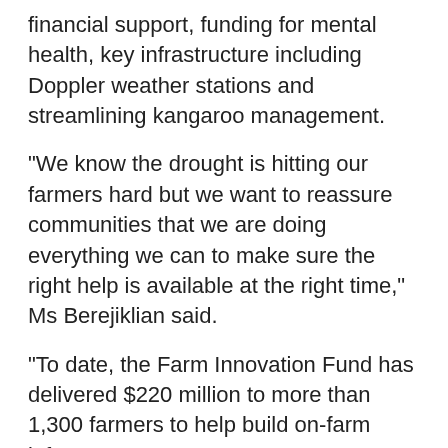financial support, funding for mental health, key infrastructure including Doppler weather stations and streamlining kangaroo management.
"We know the drought is hitting our farmers hard but we want to reassure communities that we are doing everything we can to make sure the right help is available at the right time," Ms Berejiklian said.
"To date, the Farm Innovation Fund has delivered $220 million to more than 1,300 farmers to help build on-farm infrastructure,
and prepare for and battle drought."
"Our farmers are continuing to tell us that these loans are one of the best measures available, which is why we have decided to double the funding available, taking the Fund's total value to $500 million."